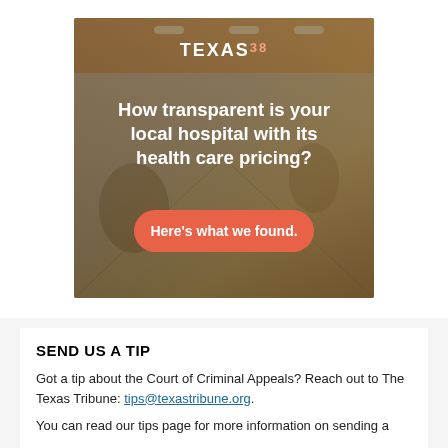[Figure (infographic): Advertisement banner with blurred hospital corridor background, TEXAS38 logo at top, bold white headline 'How transparent is your local hospital with its health care pricing?', and an orange-red rounded button reading 'Here's what we found.']
SEND US A TIP
Got a tip about the Court of Criminal Appeals? Reach out to The Texas Tribune: tips@texastribune.org.
You can read our tips page for more information on sending a